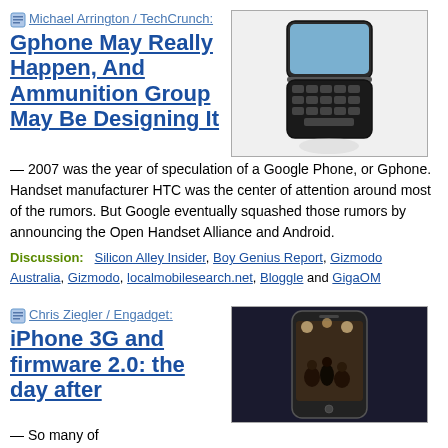Michael Arrington / TechCrunch:
[Figure (photo): Photo of a flip phone / slide phone device, open, showing keyboard]
Gphone May Really Happen, And Ammunition Group May Be Designing It
— 2007 was the year of speculation of a Google Phone, or Gphone. Handset manufacturer HTC was the center of attention around most of the rumors. But Google eventually squashed those rumors by announcing the Open Handset Alliance and Android.
Discussion: Silicon Alley Insider, Boy Genius Report, Gizmodo Australia, Gizmodo, localmobilesearch.net, Bloggle and GigaOM
Chris Ziegler / Engadget:
[Figure (photo): Photo of an iPhone showing a scene, dark image]
iPhone 3G and firmware 2.0: the day after
— So many of